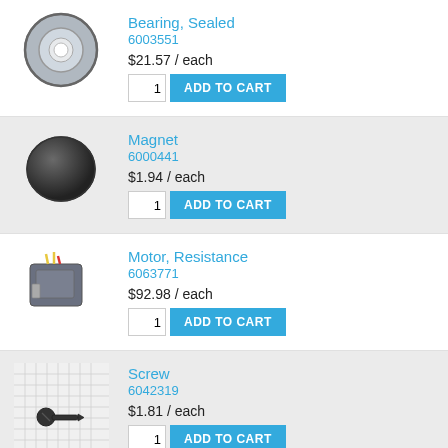[Figure (photo): Sealed bearing, circular metal ring with center hole]
Bearing, Sealed
6003551
$21.57 / each
[Figure (photo): Round black magnet disc]
Magnet
6000441
$1.94 / each
[Figure (photo): Resistance motor with yellow and red wires]
Motor, Resistance
6063771
$92.98 / each
[Figure (photo): Small black screw on grid background]
Screw
6042319
$1.81 / each
[Figure (photo): Wave washer, circular metallic ring]
Washer, Wave
6057939